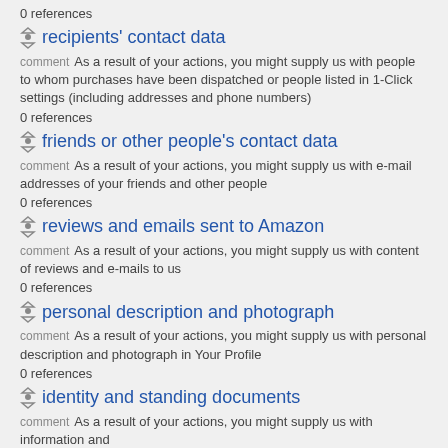0 references
recipients' contact data
comment As a result of your actions, you might supply us with people to whom purchases have been dispatched or people listed in 1-Click settings (including addresses and phone numbers)
0 references
friends or other people's contact data
comment As a result of your actions, you might supply us with e-mail addresses of your friends and other people
0 references
reviews and emails sent to Amazon
comment As a result of your actions, you might supply us with content of reviews and e-mails to us
0 references
personal description and photograph
comment As a result of your actions, you might supply us with personal description and photograph in Your Profile
0 references
identity and standing documents
comment As a result of your actions, you might supply us with information and